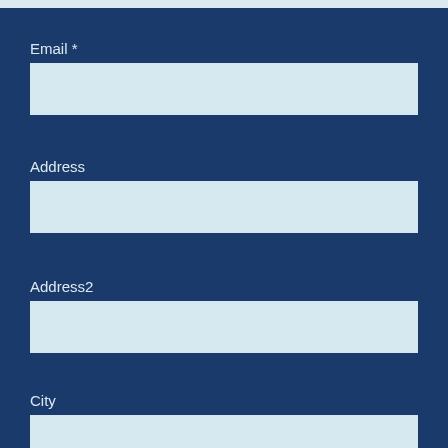Email *
Address
Address2
City
State